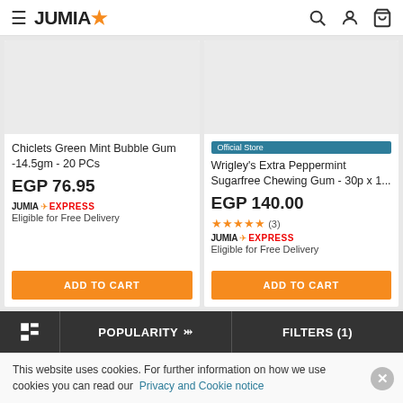JUMIA
[Figure (screenshot): Jumia e-commerce product listing page showing two chewing gum products]
Chiclets Green Mint Bubble Gum -14.5gm - 20 PCs
EGP 76.95
JUMIA EXPRESS
Eligible for Free Delivery
ADD TO CART
Official Store
Wrigley's Extra Peppermint Sugarfree Chewing Gum - 30p x 1...
EGP 140.00
★★★★★ (3)
JUMIA EXPRESS
Eligible for Free Delivery
ADD TO CART
POPULARITY  FILTERS (1)
This website uses cookies. For further information on how we use cookies you can read our Privacy and Cookie notice